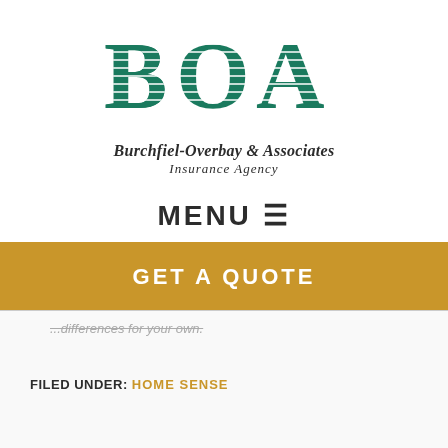[Figure (logo): BOA logo with teal striped letters and company name 'Burchfiel-Overbay & Associates Insurance Agency']
MENU ☰
GET A QUOTE
...differences for your own.
FILED UNDER: HOME SENSE